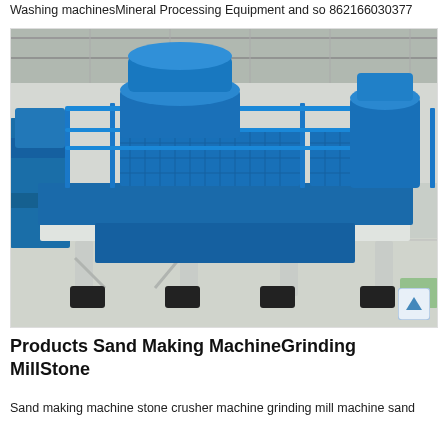Washing machinesMineral Processing Equipment and so 862166030377
[Figure (photo): Large blue industrial sand making machine / VSI crusher mounted on a white steel platform frame, photographed inside a factory/warehouse with concrete floor and metal roof structure visible in background.]
Products Sand Making MachineGrinding MillStone
Sand making machine stone crusher machine grinding mill machine sand